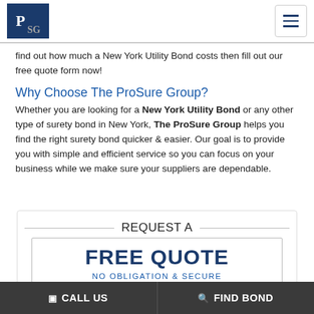PSG logo and navigation menu
find out how much a New York Utility Bond costs then fill out our free quote form now!
Why Choose The ProSure Group?
Whether you are looking for a New York Utility Bond or any other type of surety bond in New York, The ProSure Group helps you find the right surety bond quicker & easier. Our goal is to provide you with simple and efficient service so you can focus on your business while we make sure your suppliers are dependable.
[Figure (infographic): REQUEST A FREE QUOTE call-to-action box with decorative lines and NO OBLIGATION & SECURE text]
CALL US   FIND BOND